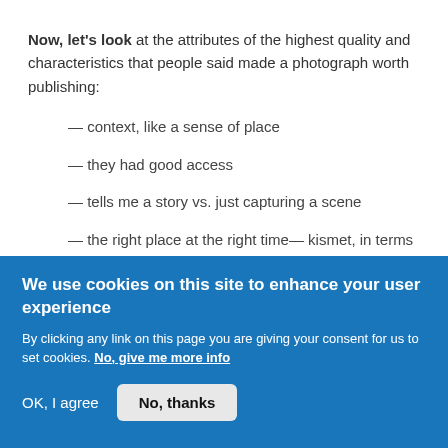Now, let's look at the attributes of the highest quality and characteristics that people said made a photograph worth publishing:
— context, like a sense of place
— they had good access
— tells me a story vs. just capturing a scene
— the right place at the right time— kismet, in terms of the
We use cookies on this site to enhance your user experience
By clicking any link on this page you are giving your consent for us to set cookies. No, give me more info
OK, I agree
No, thanks